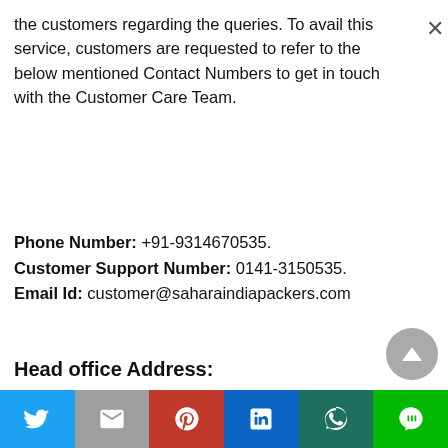the customers regarding the queries. To avail this service, customers are requested to refer to the below mentioned Contact Numbers to get in touch with the Customer Care Team.
Phone Number: +91-9314670535.
Customer Support Number: 0141-3150535.
Email Id: customer@saharaindiapackers.com
Head office Address:
[Figure (other): Social media share bar with Twitter, Gmail, Pinterest, LinkedIn, WhatsApp, and Line buttons]